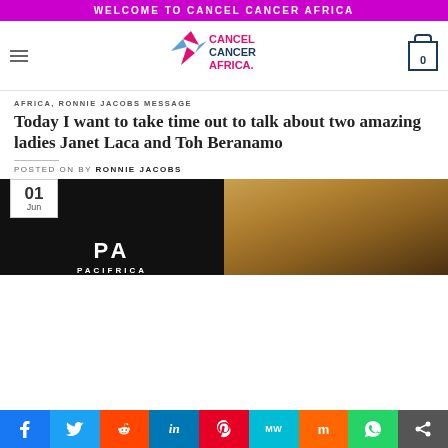WELCOME TO CANCEL CANCER AFRICA
[Figure (logo): Cancel Cancer Africa logo with star/chevron graphic and text]
AFRICA, RONNIE JACOBS MESSAGE
Today I want to take time out to talk about two amazing ladies Janet Laca and Toh Beranamo
POSTED ON BY RONNIE JACOBS
[Figure (photo): Left: Black background with Pacifrica logo text. Right: Outdoor scene with stone wall and organic material. Date badge showing 01 Jun.]
Social sharing bar: Facebook, Twitter, Reddit, LinkedIn, Pinterest, MeWe, Mix, WhatsApp, Share